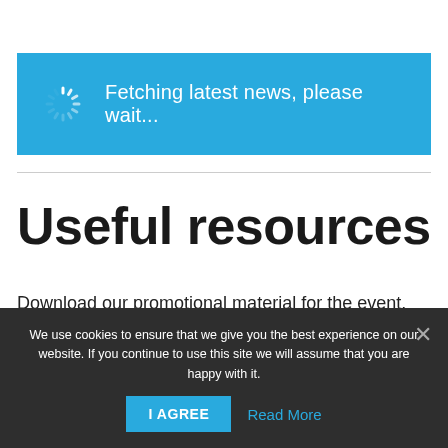[Figure (screenshot): Blue banner with spinner icon and text 'Fetching latest news, please wait...']
Useful resources
Download our promotional material for the event.
Event logo
We use cookies to ensure that we give you the best experience on our website. If you continue to use this site we will assume that you are happy with it.